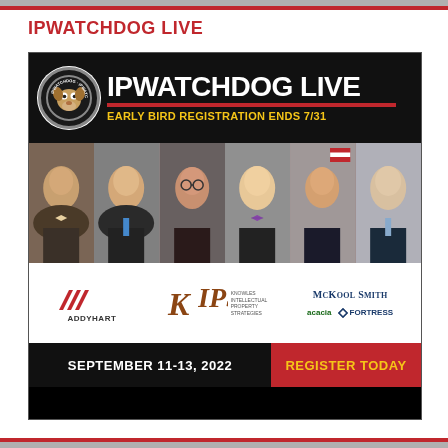IPWATCHDOG LIVE
[Figure (infographic): IPWatchdog Live event advertisement banner. Shows IPWatchdog logo, title 'IPWATCHDOG LIVE', 'EARLY BIRD REGISTRATION ENDS 7/31', six speaker headshots, sponsor logos (AddyHart, KIPS, McKool Smith, Acacia, Fortress), date 'SEPTEMBER 11-13, 2022', and 'REGISTER TODAY' call to action.]